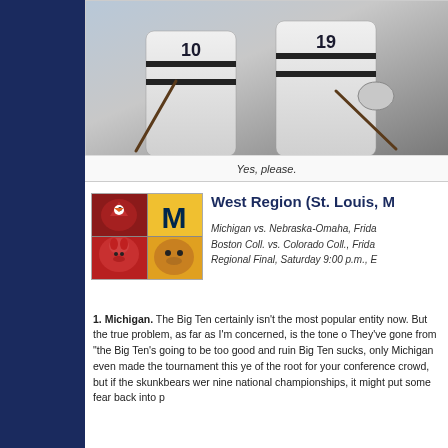[Figure (photo): Two ice hockey players in white jerseys with black stripes, numbers 10 and 19, holding sticks on the ice.]
Yes, please.
[Figure (illustration): Composite mascot logo image divided into four quadrants showing different team mascots including a bird, Michigan M, a moose/elk head, and another animal head. Colors include dark red, yellow/gold, and white.]
West Region (St. Louis, M
Michigan vs. Nebraska-Omaha, Frida Boston Coll. vs. Colorado Coll., Frida Regional Final, Saturday 9:00 p.m., E
1. Michigan. The Big Ten certainly isn't the most popular entity now. But the true problem, as far as I'm concerned, is the tone o They've gone from "the Big Ten's going to be too good and ruin Big Ten sucks, only Michigan even made the tournament this ye of the root for your conference crowd, but if the skunkbears wer nine national championships, it might put some fear back into p